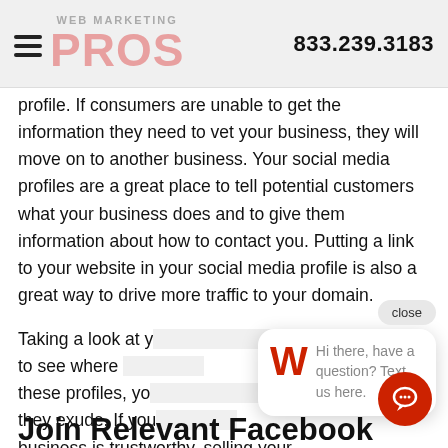WEB MARKETING PROS  833.239.3183
profile. If consumers are unable to get the information they need to vet your business, they will move on to another business. Your social media profiles are a great place to tell potential customers what your business does and to give them information about how to contact you. Putting a link to your website in your social media profile is also a great way to drive more traffic to your domain.
Taking a look at y[our competitors' social media profiles is a great] way to see where [you stand. By routinely checking on] these profiles, yo[u can get a sense of the overall vibe] they exude. If you [can make consumers feel that your] business is trustworthy, selling your products/services to them will be much easier.
[Figure (screenshot): Chat widget popup showing a red W logo with text 'Hi there, have a question? Text us here.' and a close button, plus a red circular chat FAB button.]
Join Relevant Facebook